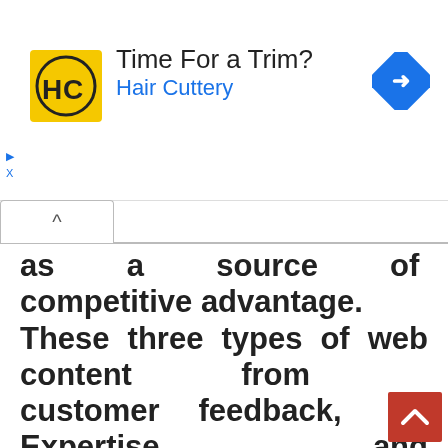[Figure (logo): Hair Cuttery advertisement banner with yellow HC logo, 'Time For a Trim?' heading, 'Hair Cuttery' subtitle in blue, and a blue diamond navigation arrow on the right.]
as a source of competitive advantage. These three types of web content from customer feedback, Expertise, and Entertainment programming are potential sources